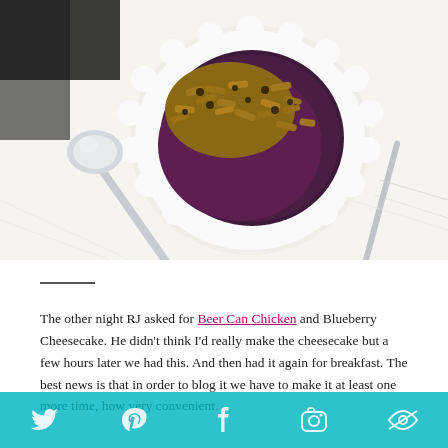[Figure (photo): Overhead photo of a white scalloped bowl filled with blueberry cheesecake topped with granola oats, with a silver spoon resting beside the bowl on a white cloth napkin.]
The other night RJ asked for Beer Can Chicken and Blueberry Cheesecake. He didn't think I'd really make the cheesecake but a few hours later we had this. And then had it again for breakfast. The best news is that in order to blog it we have to make it at least one more time, how very convenient.